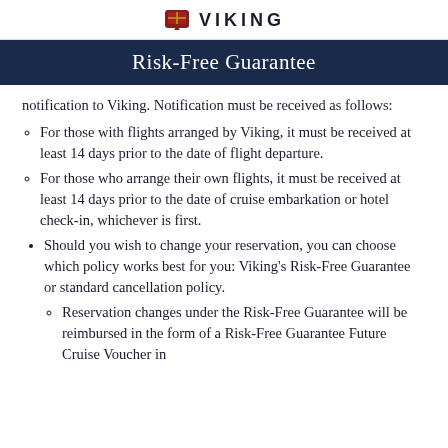VIKING
Risk-Free Guarantee
notification to Viking. Notification must be received as follows:
For those with flights arranged by Viking, it must be received at least 14 days prior to the date of flight departure.
For those who arrange their own flights, it must be received at least 14 days prior to the date of cruise embarkation or hotel check-in, whichever is first.
Should you wish to change your reservation, you can choose which policy works best for you: Viking's Risk-Free Guarantee or standard cancellation policy.
Reservation changes under the Risk-Free Guarantee will be reimbursed in the form of a Risk-Free Guarantee Future Cruise Voucher in